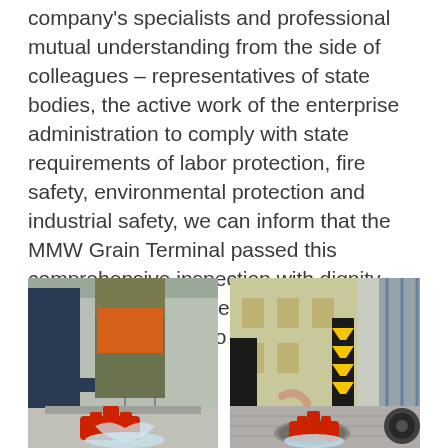company's specialists and professional mutual understanding from the side of colleagues – representatives of state bodies, the active work of the enterprise administration to comply with state requirements of labor protection, fire safety, environmental protection and industrial safety, we can inform that the MMW Grain Terminal passed this comprehensive inspection with dignity. We are grateful to the team for their qualified work, and to the state inspectors for their assistance.
[Figure (photo): Photo of fire hydrant with water flowing, person in dark blue uniform and another in camouflage clothing near a concrete structure outdoors]
[Figure (photo): Photo of fire hydrant with water flowing near a manhole cover on a paved area, person's hand visible, industrial buildings in background with yellow and black safety chevron markings]